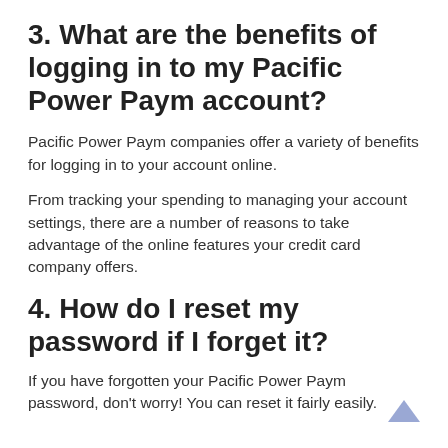3. What are the benefits of logging in to my Pacific Power Paym account?
Pacific Power Paym companies offer a variety of benefits for logging in to your account online.
From tracking your spending to managing your account settings, there are a number of reasons to take advantage of the online features your credit card company offers.
4. How do I reset my password if I forget it?
If you have forgotten your Pacific Power Paym password, don't worry! You can reset it fairly easily.